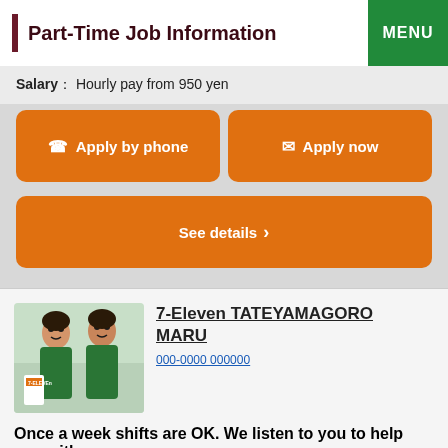Part-Time Job Information
Salary： Hourly pay from 950 yen
Apply by phone
Apply now
See details ›
[Figure (photo): Two female staff members wearing green 7-Eleven uniforms smiling]
7-Eleven TATEYAMAGOROMARU
000-0000 000000
Once a week shifts are OK. We listen to you to help you with your shift adjustments.
Salary： Hourly pay from 880 yen